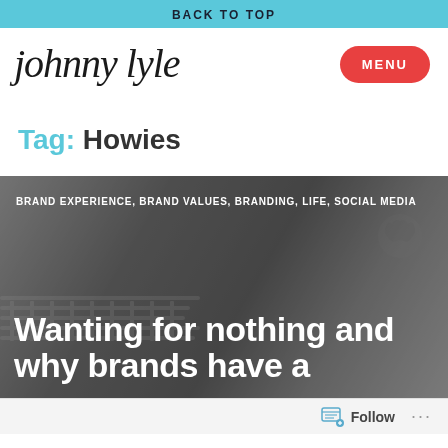BACK TO TOP
[Figure (logo): Johnny Lyle handwritten script logo with MENU button in red pill shape on right]
Tag: Howies
[Figure (photo): Grayscale photo of Apple devices including MacBook, Apple Watch, and other tech accessories on a desk]
BRAND EXPERIENCE, BRAND VALUES, BRANDING, LIFE, SOCIAL MEDIA
Wanting for nothing and why brands have a
Follow ...